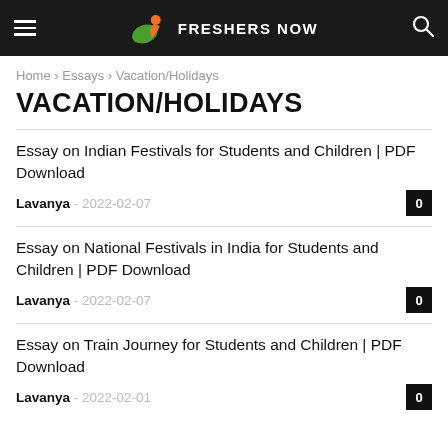FRESHERS NOW
Home › Essays › Vacation/Holidays
VACATION/HOLIDAYS
Essay on Indian Festivals for Students and Children | PDF Download — Lavanya - 2022-02-07 — 0
Essay on National Festivals in India for Students and Children | PDF Download — Lavanya - 2022-02-07 — 0
Essay on Train Journey for Students and Children | PDF Download — Lavanya - 2022-02-01 — 0